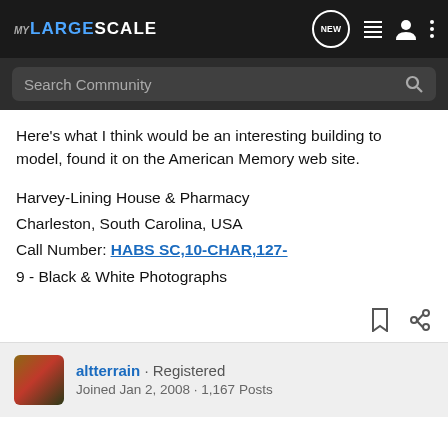MY LARGE SCALE - navigation bar with search
Here's what I think would be an interesting building to model, found it on the American Memory web site.
Harvey-Lining House & Pharmacy
Charleston, South Carolina, USA
Call Number: HABS SC,10-CHAR,127-
9 - Black & White Photographs
altterrain · Registered · Joined Jan 2, 2008 · 1,167 Posts